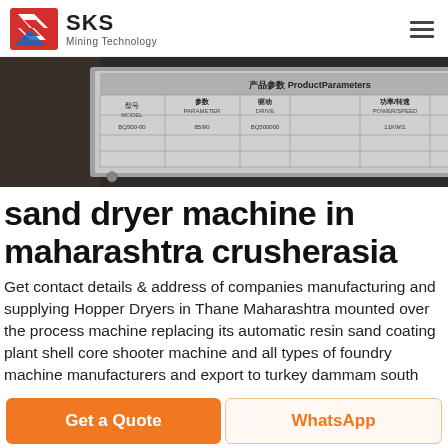SKS Mining Technology
[Figure (photo): Product parameters label/nameplate on a machine, showing a table with Chinese and English text: 产品参数 Product Parameters, with columns for specifications including dimensions and model information, photographed close-up.]
sand dryer machine in maharashtra crusherasia
Get contact details & address of companies manufacturing and supplying Hopper Dryers in Thane Maharashtra mounted over the process machine replacing its automatic resin sand coating plant shell core shooter machine and all types of foundry machine manufacturers and export to turkey dammam south
Get a Quote | WhatsApp